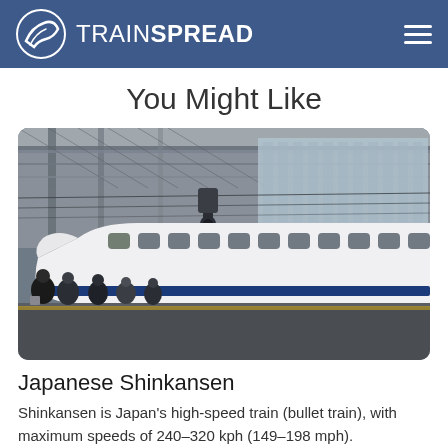TRAINSPREAD
You Might Like
[Figure (photo): A Japanese Shinkansen bullet train parked at a station platform with passengers on the platform. The train is white with a blue stripe, and the station has an industrial overhead structure.]
Japanese Shinkansen
Shinkansen is Japan's high-speed train (bullet train), with maximum speeds of 240–320 kph (149–198 mph).